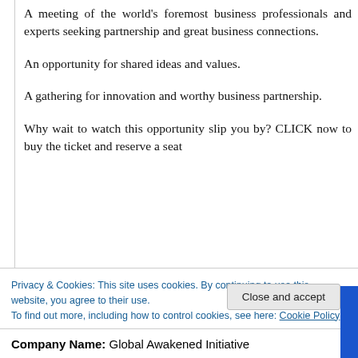A meeting of the world's foremost business professionals and experts seeking partnership and great business connections.
An opportunity for shared ideas and values.
A gathering for innovation and worthy business partnership.
Why wait to watch this opportunity slip you by? CLICK now to buy the ticket and reserve a seat
Privacy & Cookies: This site uses cookies. By continuing to use this website, you agree to their use.
To find out more, including how to control cookies, see here: Cookie Policy
Close and accept
Company Name: Global Awakened Initiative